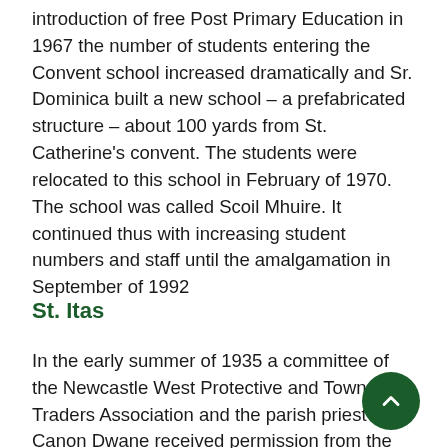introduction of free Post Primary Education in 1967 the number of students entering the Convent school increased dramatically and Sr. Dominica built a new school – a prefabricated structure – about 100 yards from St. Catherine's convent. The students were relocated to this school in February of 1970. The school was called Scoil Mhuire. It continued thus with increasing student numbers and staff until the amalgamation in September of 1992
St. Itas
In the early summer of 1935 a committee of the Newcastle West Protective and Town Traders Association and the parish priest Canon Dwane received permission from the Department of Education to establish a boys secondary school in Newcastle West. Permission was also